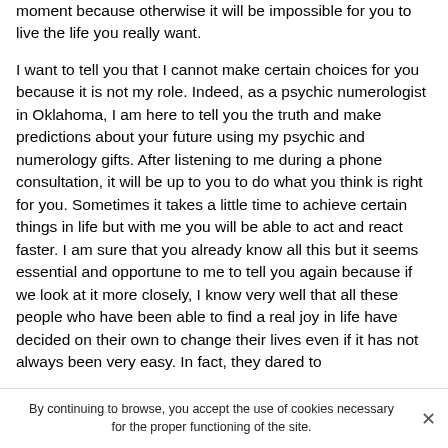moment because otherwise it will be impossible for you to live the life you really want.
I want to tell you that I cannot make certain choices for you because it is not my role. Indeed, as a psychic numerologist in Oklahoma, I am here to tell you the truth and make predictions about your future using my psychic and numerology gifts. After listening to me during a phone consultation, it will be up to you to do what you think is right for you. Sometimes it takes a little time to achieve certain things in life but with me you will be able to act and react faster. I am sure that you already know all this but it seems essential and opportune to me to tell you again because if we look at it more closely, I know very well that all these people who have been able to find a real joy in life have decided on their own to change their lives even if it has not always been very easy. In fact, they dared to
By continuing to browse, you accept the use of cookies necessary for the proper functioning of the site.